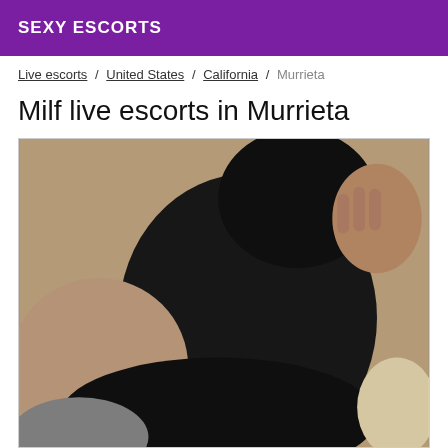SEXY ESCORTS
Live escorts / United States / California / Murrieta
Milf live escorts in Murrieta
[Figure (photo): A person wearing a black outfit photographed from above in a mirror selfie style, showing torso and arm raised.]